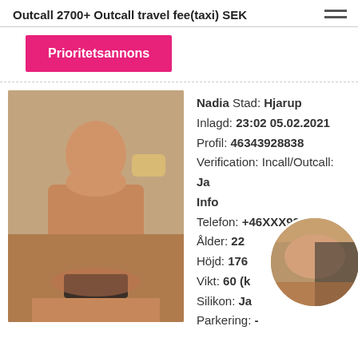Outcall 2700+ Outcall travel fee(taxi) SEK
Prioritetsannons
Nadia Stad: Hjarup
Inlagd: 23:02 05.02.2021
Profil: 46343928838
Verification: Incall/Outcall:
Ja
Info
Telefon: +46XXX935418
Ålder: 22
Höjd: 176
Vikt: 60 (k
Silikon: Ja
Parkering: -
[Figure (photo): Photo of a woman sitting on a white chair]
[Figure (photo): Circular thumbnail photo]